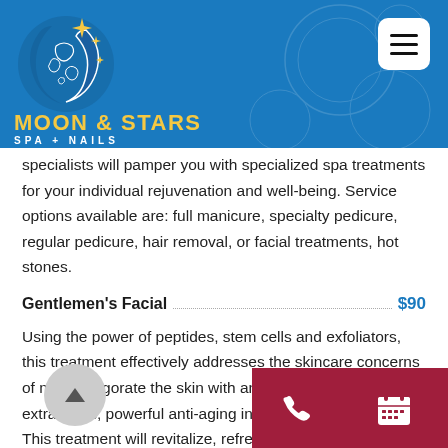[Figure (logo): Moon & Stars Spa + Nails logo: decorative crescent moon with stars on blue background, with brand name in gold/yellow and white text]
specialists will pamper you with specialized spa treatments for your individual rejuvenation and well-being. Service options available are: full manicure, specialty pedicure, regular pedicure, hair removal, or facial treatments, hot stones.
Gentlemen's Facial $90
Using the power of peptides, stem cells and exfoliators, this treatment effectively addresses the skincare concerns of men. Invigorate the skin with an effective exfoliation, extractions, powerful anti-aging ingredients and a dr mask. This treatment will revitalize, refresh and ve health and appearance of men's skin.